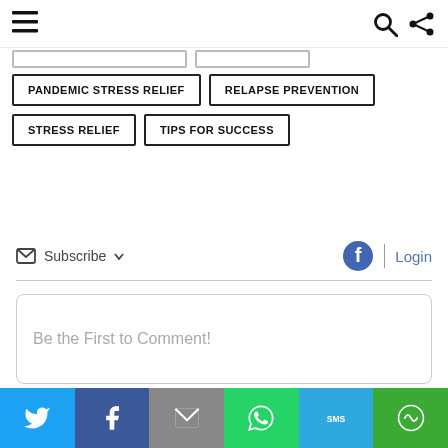Navigation bar with menu, search, and share icons
PANDEMIC STRESS RELIEF
RELAPSE PREVENTION
STRESS RELIEF
TIPS FOR SUCCESS
Subscribe  Login
Be the First to Comment!
Social share bar: Twitter, Facebook, Email, WhatsApp, SMS, More